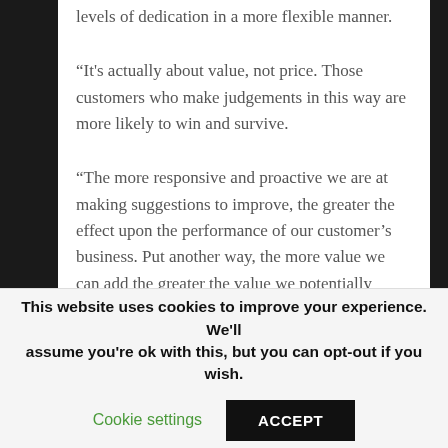levels of dedication in a more flexible manner.
“It's actually about value, not price. Those customers who make judgements in this way are more likely to win and survive.
“The more responsive and proactive we are at making suggestions to improve, the greater the effect upon the performance of our customer’s business. Put another way, the more value we can add the greater the value we potentially create for ourselves.”
This website uses cookies to improve your experience. We'll assume you're ok with this, but you can opt-out if you wish.
Cookie settings
ACCEPT